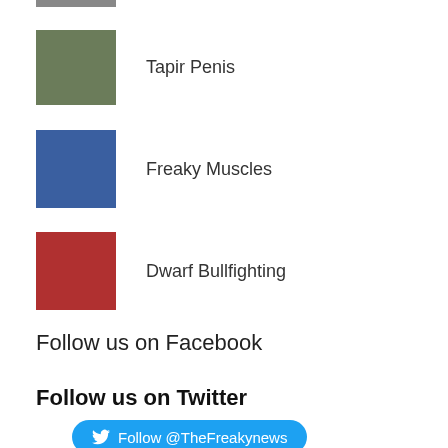[Figure (photo): Partial thumbnail visible at top of page (cropped)]
Tapir Penis
[Figure (photo): Thumbnail image of a tapir on green grass]
Freaky Muscles
[Figure (photo): Thumbnail image of a muscular person on blue background]
Dwarf Bullfighting
[Figure (photo): Thumbnail image of dwarf bullfighting scene]
Follow us on Facebook
Follow us on Twitter
Follow @TheFreakynews